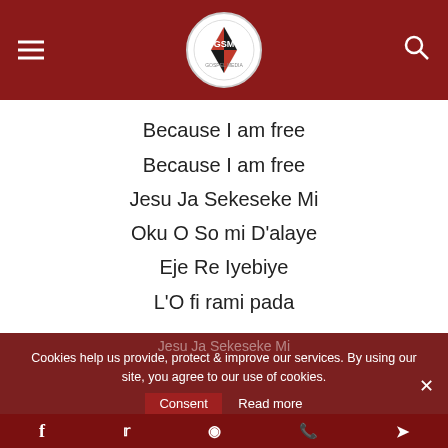GSM Gospel Media
Because I am free
Because I am free
Jesu Ja Sekeseke Mi
Oku O So mi D'alaye
Eje Re Iyebiye
L'O fi rami pada
Jesu Ja Sekeseke Mi
Cookies help us provide, protect & improve our services. By using our site, you agree to our use of cookies.
Consent  Read more